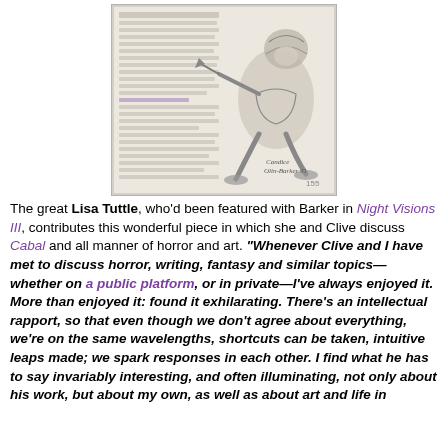[Figure (photo): A scanned book page showing text on the left and a detailed pencil illustration of a crouching armored or fantasy figure on the right, with a handwritten signature at the bottom right of the illustration.]
The great Lisa Tuttle, who'd been featured with Barker in Night Visions III, contributes this wonderful piece in which she and Clive discuss Cabal and all manner of horror and art. "Whenever Clive and I have met to discuss horror, writing, fantasy and similar topics—whether on a public platform, or in private—I've always enjoyed it. More than enjoyed it: found it exhilarating. There's an intellectual rapport, so that even though we don't agree about everything, we're on the same wavelengths, shortcuts can be taken, intuitive leaps made; we spark responses in each other. I find what he has to say invariably interesting, and often illuminating, not only about his work, but about my own, as well as about art and life in